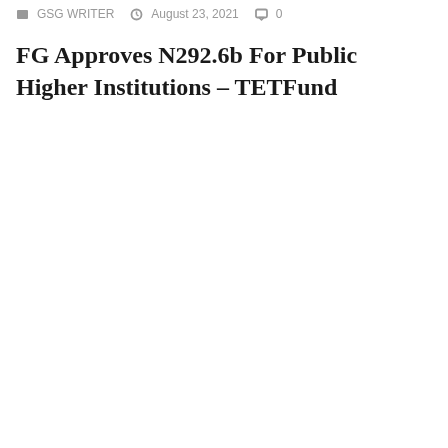GSG WRITER   August 23, 2021   0
FG Approves N292.6b For Public Higher Institutions – TETFund